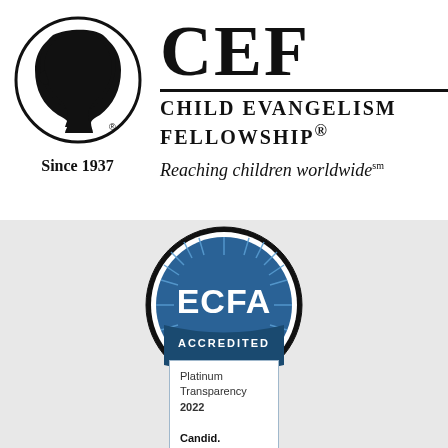[Figure (logo): Child Evangelism Fellowship logo: circular black and white silhouette of a child's profile on left, 'CEF' large letters with horizontal rule, 'CHILD EVANGELISM FELLOWSHIP®' text on right]
Since 1937
Reaching children worldwide℠
[Figure (logo): ECFA Accredited seal: circular badge with blue starburst background, 'ECFA' in large bold white letters, 'ACCREDITED' text below, black circular border]
[Figure (logo): Candid Platinum Transparency 2022 badge: rectangular box with light blue border containing text 'Platinum Transparency 2022' and 'Candid.']